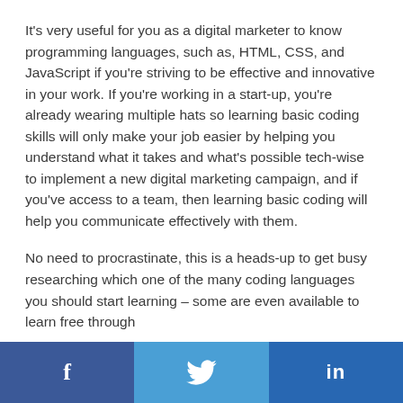It's very useful for you as a digital marketer to know programming languages, such as, HTML, CSS, and JavaScript if you're striving to be effective and innovative in your work. If you're working in a start-up, you're already wearing multiple hats so learning basic coding skills will only make your job easier by helping you understand what it takes and what's possible tech-wise to implement a new digital marketing campaign, and if you've access to a team, then learning basic coding will help you communicate effectively with them.
No need to procrastinate, this is a heads-up to get busy researching which one of the many coding languages you should start learning – some are even available to learn free through
Facebook | Twitter | LinkedIn